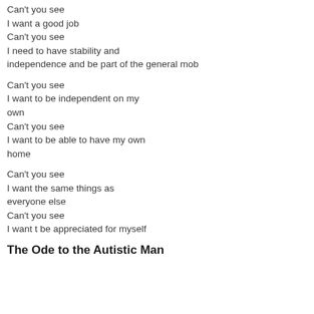Can't you see
I want a good job
Can't you see
I need to have stability and
independence and be part of the general mob
Can't you see
I want to be independent on my
own
Can't you see
I want to be able to have my own
home
Can't you see
I want the same things as
everyone else
Can't you see
I want t be appreciated for myself
The Ode to the Autistic Man